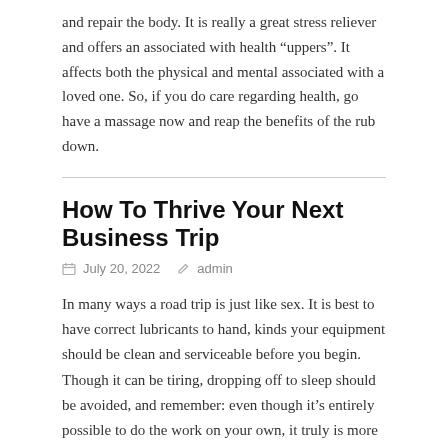and repair the body. It is really a great stress reliever and offers an associated with health “uppers”. It affects both the physical and mental associated with a loved one. So, if you do care regarding health, go have a massage now and reap the benefits of the rub down.
How To Thrive Your Next Business Trip
July 20, 2022   admin
In many ways a road trip is just like sex. It is best to have correct lubricants to hand, kinds your equipment should be clean and serviceable before you begin. Though it can be tiring, dropping off to sleep should be avoided, and remember: even though it’s entirely possible to do the work on your own, it truly is more fun when there’s someone else doing it with owners. Oh, that reminds me, don’t forget your video camera.